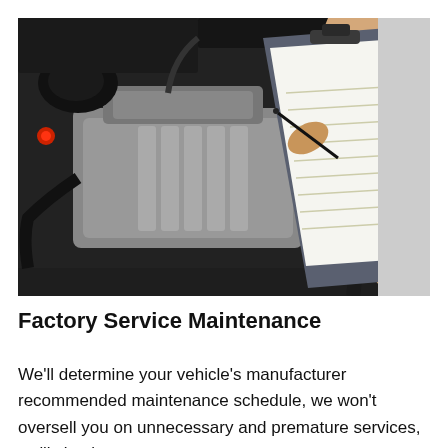[Figure (photo): A mechanic or technician writing on a clipboard checklist while inspecting a car engine bay. The engine compartment is open showing a modern engine, and the person is holding a pen over a paper form attached to a clipboard.]
Factory Service Maintenance
We'll determine your vehicle's manufacturer recommended maintenance schedule, we won't oversell you on unnecessary and premature services, we'll simply get you